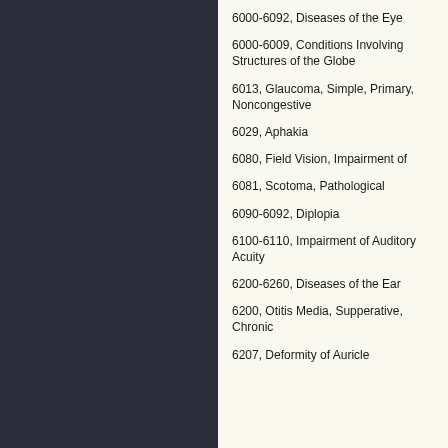6000-6092, Diseases of the Eye
6000-6009, Conditions Involving Structures of the Globe
6013, Glaucoma, Simple, Primary, Noncongestive
6029, Aphakia
6080, Field Vision, Impairment of
6081, Scotoma, Pathological
6090-6092, Diplopia
6100-6110, Impairment of Auditory Acuity
6200-6260, Diseases of the Ear
6200, Otitis Media, Supperative, Chronic
6207, Deformity of Auricle...